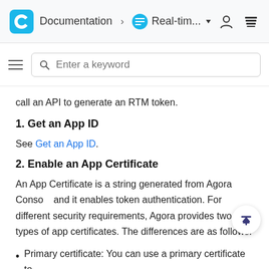Documentation > Real-tim...
call an API to generate an RTM token.
1. Get an App ID
See Get an App ID.
2. Enable an App Certificate
An App Certificate is a string generated from Agora Console and it enables token authentication. For different security requirements, Agora provides two types of app certificates. The differences are as follows:
Primary certificate: You can use a primary certificate to